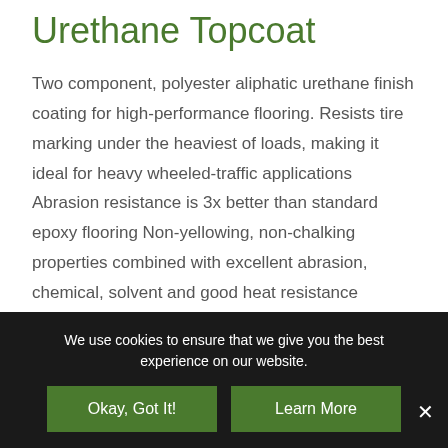Urethane Topcoat
Two component, polyester aliphatic urethane finish coating for high-performance flooring. Resists tire marking under the heaviest of loads, making it ideal for heavy wheeled-traffic applications Abrasion resistance is 3x better than standard epoxy flooring Non-yellowing, non-chalking properties combined with excellent abrasion, chemical, solvent and good heat resistance properties Provides excellent gloss retention and will continue …
We use cookies to ensure that we give you the best experience on our website.
Okay, Got It!
Learn More